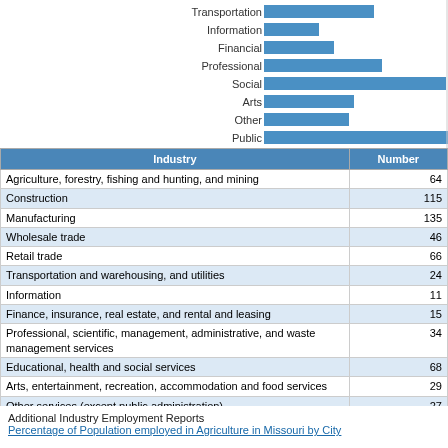[Figure (bar-chart): Industry Employment (partial view)]
| Industry | Number |
| --- | --- |
| Agriculture, forestry, fishing and hunting, and mining | 64 |
| Construction | 115 |
| Manufacturing | 135 |
| Wholesale trade | 46 |
| Retail trade | 66 |
| Transportation and warehousing, and utilities | 24 |
| Information | 11 |
| Finance, insurance, real estate, and rental and leasing | 15 |
| Professional, scientific, management, administrative, and waste management services | 34 |
| Educational, health and social services | 68 |
| Arts, entertainment, recreation, accommodation and food services | 29 |
| Other services (except public administration) | 27 |
| Public administration | 156 |
Additional Industry Employment Reports
Percentage of Population employed in Agriculture in Missouri by City